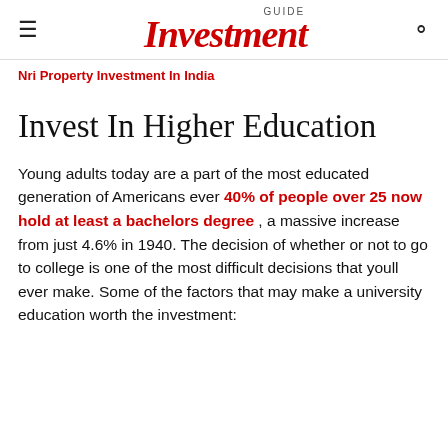Investment GUIDE
Nri Property Investment In India
Invest In Higher Education
Young adults today are a part of the most educated generation of Americans ever 40% of people over 25 now hold at least a bachelors degree , a massive increase from just 4.6% in 1940. The decision of whether or not to go to college is one of the most difficult decisions that youll ever make. Some of the factors that may make a university education worth the investment: